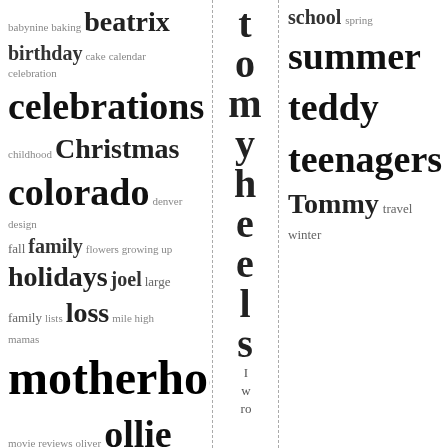[Figure (other): Tag cloud in left column with words of varying sizes: babynine, baking, beatrix, birthday, cake, calendar, celebration, celebrations, childhood, Christmas, colorado, denver, design, fall, family, flowers, growing up, holidays, joel, large family, lists, loss, mile high mamas, motherhood, movie reviews, oliver, ollie, photography, pregnancy, ryley, sam, saturday, siblings, school, spring, summer, teddy, teenagers, Tommy, travel, winter]
[Figure (other): Middle column with large vertical letters: t, o, m, y, h, e, e, l, s, and small letters: I, w, ro]
[Figure (other): Right column tag cloud: school, spring, summer, teddy, teenagers, Tommy, travel, winter]